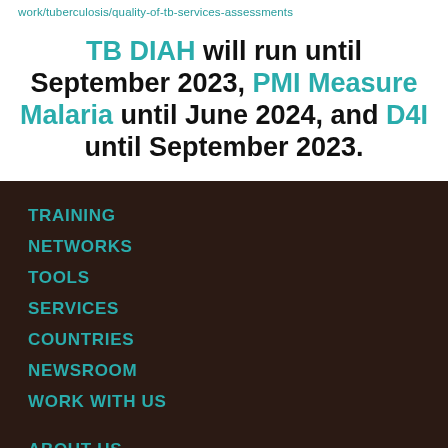work/tuberculosis/quality-of-tb-services-assessments
TB DIAH will run until September 2023, PMI Measure Malaria until June 2024, and D4I until September 2023.
TRAINING
NETWORKS
TOOLS
SERVICES
COUNTRIES
NEWSROOM
WORK WITH US
ABOUT US
Introduction
Mission
The Team